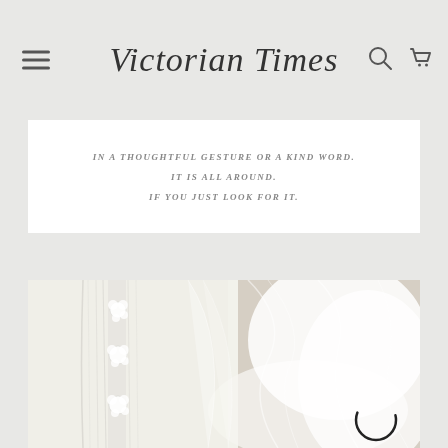Victorian Times
IN A THOUGHTFUL GESTURE OR A KIND WORD. IT IS ALL AROUND. IF YOU JUST LOOK FOR IT.
[Figure (photo): Close-up photograph of white lace wedding dress and flowing sheer veil with embroidered floral details, draped over a neutral background. A loading spinner icon is visible in the lower right corner of the image.]